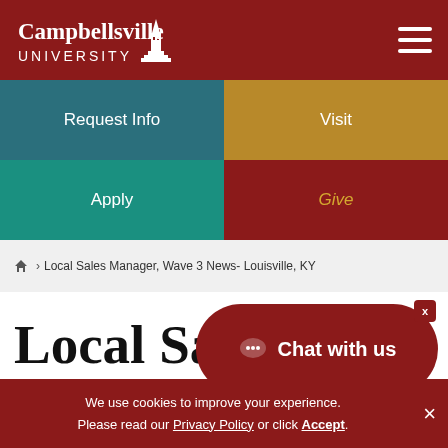[Figure (logo): Campbellsville University logo — white text and steeple graphic on dark red background]
Request Info
Visit
Apply
Give
🏠 › Local Sales Manager, Wave 3 News- Louisville, KY
Local Sales Manager, Wave 3 News
Chat with us
We use cookies to improve your experience. Please read our Privacy Policy or click Accept.